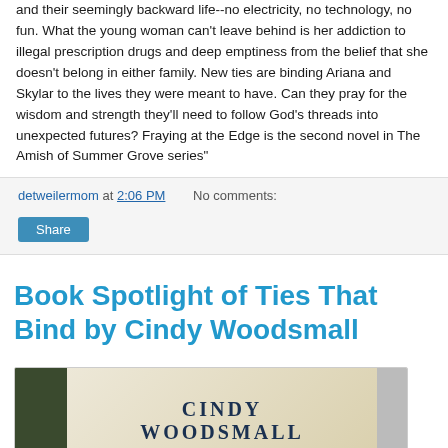and their seemingly backward life--no electricity, no technology, no fun. What the young woman can't leave behind is her addiction to illegal prescription drugs and deep emptiness from the belief that she doesn't belong in either family. New ties are binding Ariana and Skylar to the lives they were meant to have. Can they pray for the wisdom and strength they'll need to follow God's threads into unexpected futures? Fraying at the Edge is the second novel in The Amish of Summer Grove series"
detweilermom at 2:06 PM   No comments:
Share
Book Spotlight of Ties That Bind by Cindy Woodsmall
[Figure (photo): Book cover showing 'Cindy Woodsmall' author name with 'New York Times and CBA Best-Selling Author' subtitle on a beige/tan background with dark green spine on the left.]